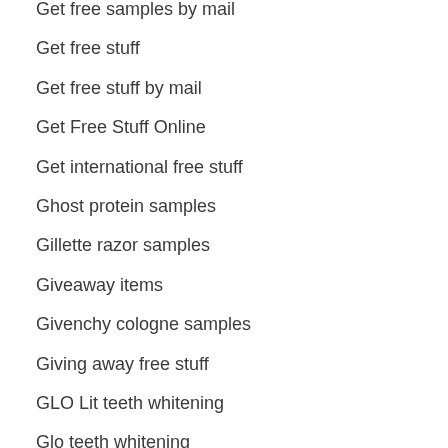Get free samples by mail
Get free stuff
Get free stuff by mail
Get Free Stuff Online
Get international free stuff
Ghost protein samples
Gillette razor samples
Giveaway items
Givenchy cologne samples
Giving away free stuff
GLO Lit teeth whitening
Glo teeth whitening
Global Free Food Samples
Global free samples